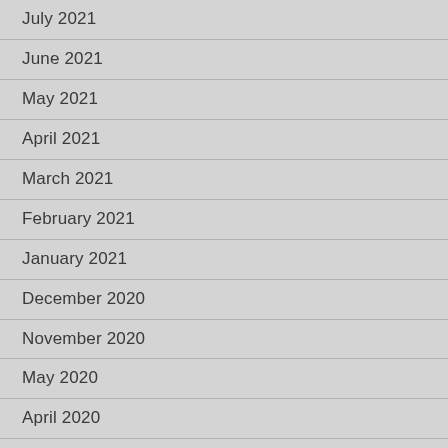July 2021
June 2021
May 2021
April 2021
March 2021
February 2021
January 2021
December 2020
November 2020
May 2020
April 2020
March 2020
February 2020